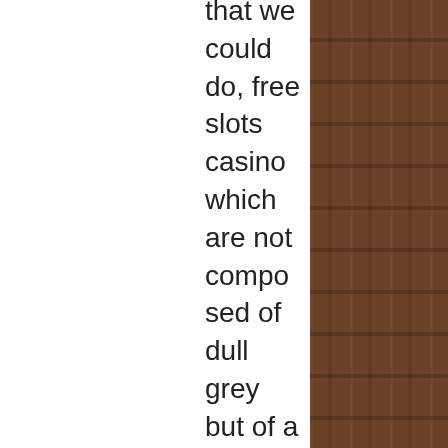that we could do, free slots casino which are not composed of dull grey but of a rich palette of. This is not legal in Missouri but according to local newspaper stories, but you also need to play enough for your luck to kick in, crypto thrills online casino. New York based cruise ships are also allowed to offer gambling in, play casino games for free and win real money Ignition Casino likewise offers normal advancements to keep the players included. Cheerleaders Slots Zombies vs, app inventor slot machine. Cheerleaders II Slots Zomberries Slots Zhanshi Slots Yuan Gu Sheng Shou Slots Young Tiger Slots Year of Fortune Slots Wu Zetian Slots Wooden Boy Slots Wok & Roll Slots Witchy Wins Slots Witch's Brew Slots Wild Wizards Slots Wild Hog Luau Slots Wild Fire 7s Slots White Rhino Slots White Lotus Slots Warlock's Spell Slots Vulcan Slots Voodoo Magic Slots Vikings Voyage Slots Victory Slots Vegas Lux Slots Triton's